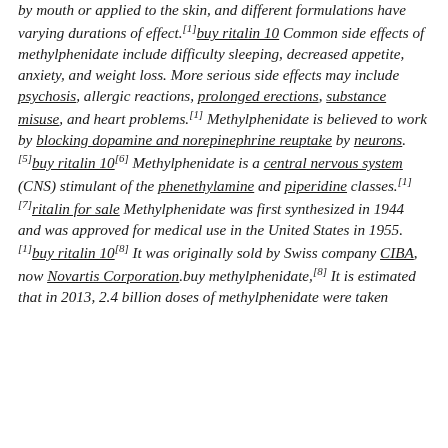by mouth or applied to the skin, and different formulations have varying durations of effect.[1]buy ritalin 10 Common side effects of methylphenidate include difficulty sleeping, decreased appetite, anxiety, and weight loss. More serious side effects may include psychosis, allergic reactions, prolonged erections, substance misuse, and heart problems.[1] Methylphenidate is believed to work by blocking dopamine and norepinephrine reuptake by neurons.[5]buy ritalin 10[6] Methylphenidate is a central nervous system (CNS) stimulant of the phenethylamine and piperidine classes.[1][7]ritalin for sale Methylphenidate was first synthesized in 1944 and was approved for medical use in the United States in 1955.[1]buy ritalin 10[8] It was originally sold by Swiss company CIBA, now Novartis Corporation.buy methylphenidate,[8] It is estimated that in 2013, 2.4 billion doses of methylphenidate were taken